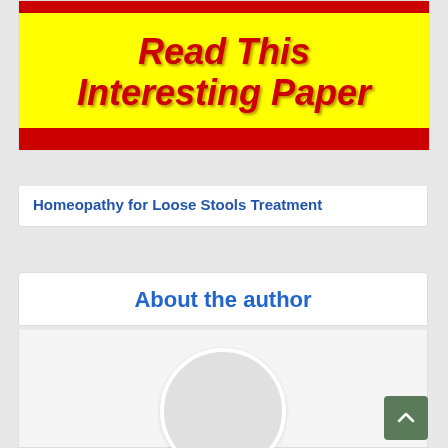[Figure (illustration): Promotional image with red top bar, yellow background, bold italic red text reading 'Read This Interesting Paper', and a red bottom bar]
Homeopathy for Loose Stools Treatment
About the author
[Figure (photo): Circular avatar placeholder (empty grey circle) representing an author profile photo]